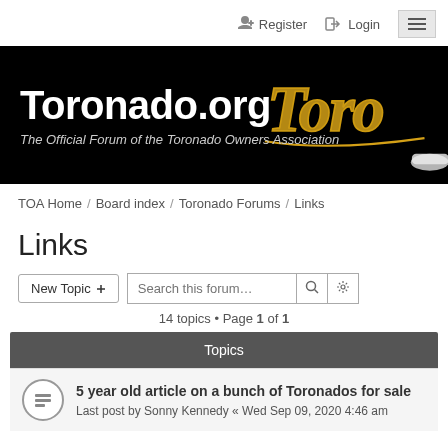Register  Login
[Figure (screenshot): Toronado.org banner with black background, white bold text 'Toronado.org', italic subtitle 'The Official Forum of the Toronado Owners Association', and gold script Toronado logo with car image on the right]
TOA Home / Board index / Toronado Forums / Links
Links
New Topic  Search this forum...  14 topics • Page 1 of 1
| Topics |
| --- |
| 5 year old article on a bunch of Toronados for sale
Last post by Sonny Kennedy « Wed Sep 09, 2020 4:46 am |